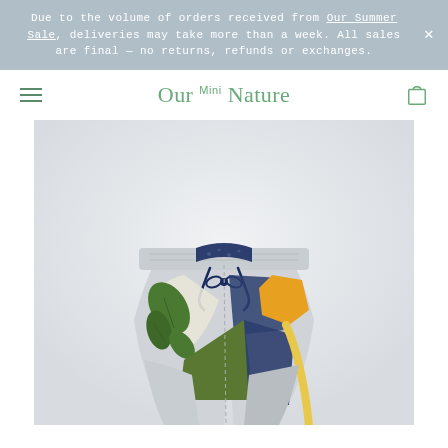Due to the volume of orders received from Our Summer Sale, deliveries may take more than a week. All sales are final — no returns, refunds or exchanges.
Our Mini Nature
[Figure (photo): Product photo of children's shorts with colorful botanical print pattern including green leaves, blue, yellow and white geometric shapes, with a dark navy drawstring waistband, on a light grey background.]